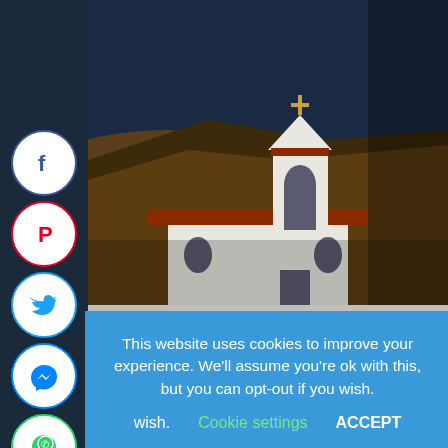[Figure (photo): A white Greek Orthodox chapel with a bell tower topped with a cross, set against a dark blue sky with dry hillside terrain in the background.]
isolated chapels, almost everywhere (even on a hilltop)
This website uses cookies to improve your experience. We'll assume you're ok with this, but you can opt-out if you wish. Cookie settings ACCEPT
In the next village, in Plaka, other old men lined up at another taverna in the street. In a small square next to the main church, an old woman gently rocked a baby to sleep while she was walking the